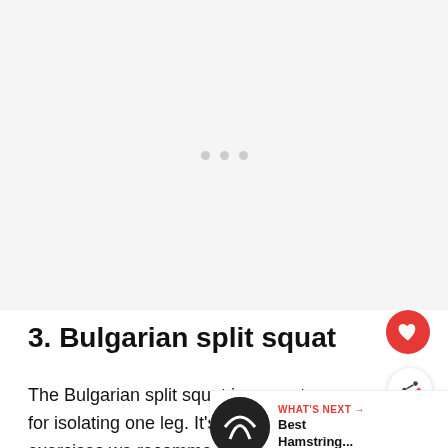[Figure (photo): Blank/placeholder image area with three small gray dots centered in the middle, indicating a loading or empty media slot]
3. Bulgarian split squat
The Bulgarian split squat is a great movement for isolating one leg. It's also one of the sin… exercises we recommend loading up with extra